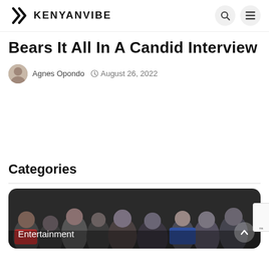KENYANVIBE
Bears It All In A Candid Interview
Agnes Opondo  August 26, 2022
Categories
[Figure (photo): Entertainment category card with crowd photo background showing people at an event, with 'Entertainment' label overlay]